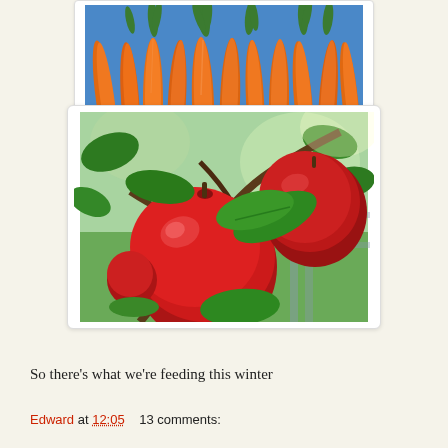[Figure (photo): Partial image of fresh carrots with green tops on a blue background, cropped at top]
[Figure (photo): Red apples hanging on a tree with green leaves and sunlight in background]
So there’s what we’re feeding this winter
Edward at 12:05    13 comments: